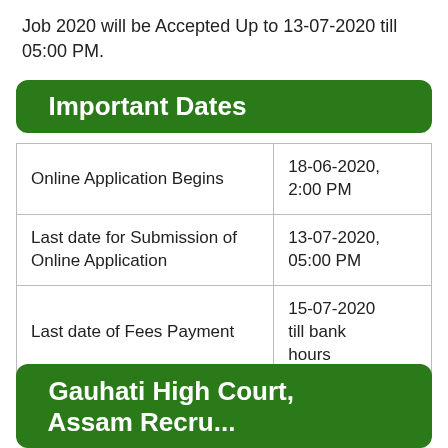Job 2020 will be Accepted Up to 13-07-2020 till 05:00 PM.
Important Dates
| Online Application Begins | 18-06-2020, 2:00 PM |
| Last date for Submission of Online Application | 13-07-2020, 05:00 PM |
| Last date of Fees Payment | 15-07-2020 till bank hours |
Gauhati High Court,